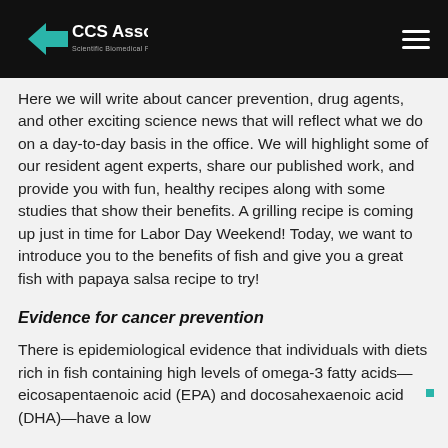CCS Associates
Here we will write about cancer prevention, drug agents, and other exciting science news that will reflect what we do on a day-to-day basis in the office. We will highlight some of our resident agent experts, share our published work, and provide you with fun, healthy recipes along with some studies that show their benefits. A grilling recipe is coming up just in time for Labor Day Weekend! Today, we want to introduce you to the benefits of fish and give you a great fish with papaya salsa recipe to try!
Evidence for cancer prevention
There is epidemiological evidence that individuals with diets rich in fish containing high levels of omega-3 fatty acids—eicosapentaenoic acid (EPA) and docosahexaenoic acid (DHA)—have a low